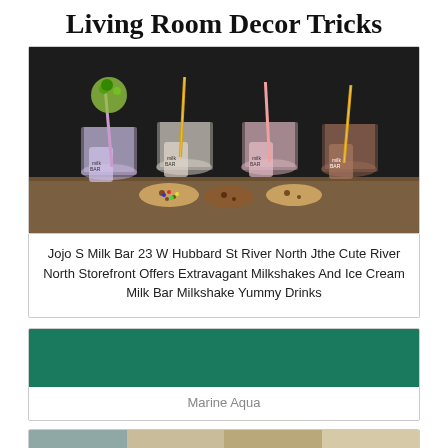Living Room Decor Tricks
[Figure (photo): Photo of colorful milkshakes and small milk bottles with straws at a Milk Bar, with cookies in the foreground on a wooden surface, dark background]
Jojo S Milk Bar 23 W Hubbard St River North Jthe Cute River North Storefront Offers Extravagant Milkshakes And Ice Cream Milk Bar Milkshake Yummy Drinks
[Figure (infographic): Marine Aqua color block showing a dark teal/green color swatch labeled 'Marine Aqua']
[Figure (infographic): Color strip showing four color swatches: muted blue-grey, light beige, medium tan, and pale beige, with a red CLOSE button overlay]